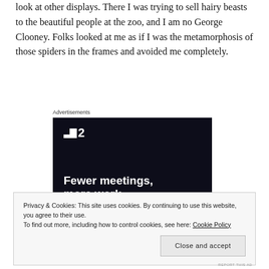look at other displays. There I was trying to sell hairy beasts to the beautiful people at the zoo, and I am no George Clooney. Folks looked at me as if I was the metamorphosis of those spiders in the frames and avoided me completely.
Advertisements
[Figure (screenshot): Dark advertisement banner with logo showing a stylized icon and '2', with headline 'Fewer meetings, more work']
Privacy & Cookies: This site uses cookies. By continuing to use this website, you agree to their use. To find out more, including how to control cookies, see here: Cookie Policy
Close and accept
REPORT THIS AD